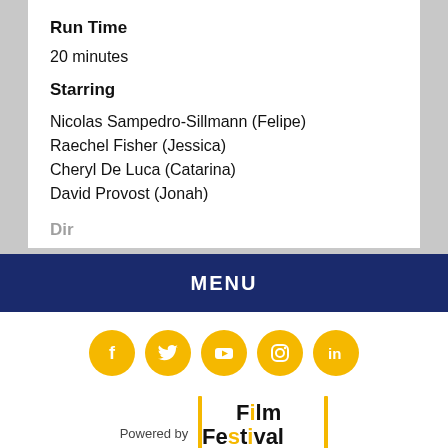Run Time
20 minutes
Starring
Nicolas Sampedro-Sillmann (Felipe)
Raechel Fisher (Jessica)
Cheryl De Luca (Catarina)
David Provost (Jonah)
MENU
[Figure (illustration): Social media icons: Facebook, Twitter, YouTube, Instagram, LinkedIn — all gold circles with white icons]
Powered by Film Festival Flix